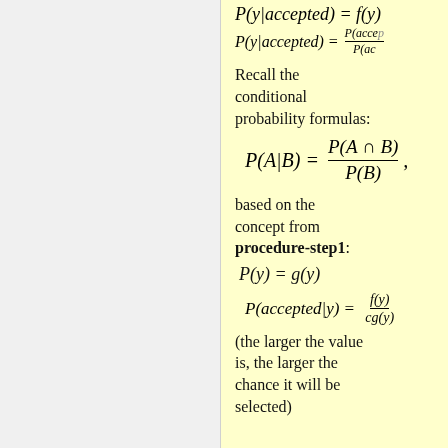Recall the conditional probability formulas:
based on the concept from procedure-step1: P(y) = g(y)
(the larger the value is, the larger the chance it will be selected)